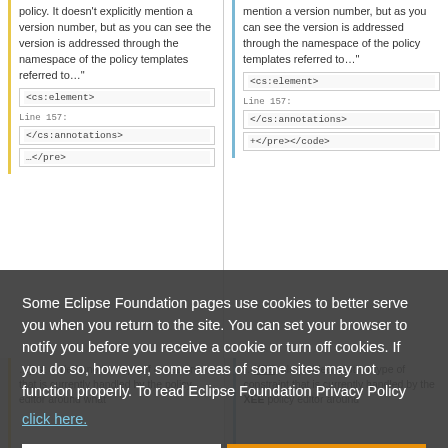policy. It doesn't explicitly mention a version number, but as you can see the version is addressed through the namespace of the policy templates referred to…"
mention a version number, but as you can see the version is addressed through the namespace of the policy templates referred to…"
Some Eclipse Foundation pages use cookies to better serve you when you return to the site. You can set your browser to notify you before you receive a cookie or turn off cookies. If you do so, however, some areas of some sites may not function properly. To read Eclipse Foundation Privacy Policy click here.
Decline
Allow cookies
…just added another type of constraint that is currently handled by the policy editor around what
…XEE: also added another type of constraint that is currently handled by the XEE policy editor around